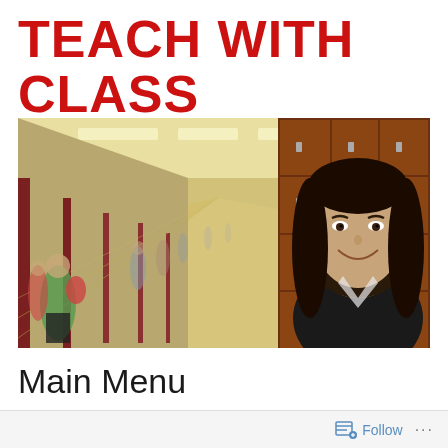TEACH WITH CLASS
Susan G Barber
[Figure (photo): A smiling woman with long dark hair stands in front of school lockers in a school hallway. The hallway stretches into the background with students walking and fluorescent lights overhead. The lockers are reddish-brown wood-paneled.]
Main Menu
Follow ...